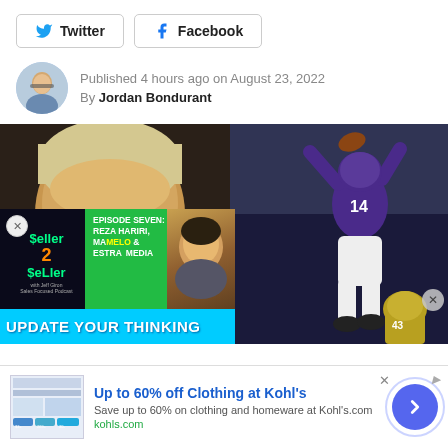[Figure (other): Twitter and Facebook social share buttons]
Published 4 hours ago on August 23, 2022
By Jordan Bondurant
[Figure (photo): Left: close-up of a man with glasses (NFL analyst/broadcaster); Right: NFL player #14 in purple Minnesota Vikings uniform catching/jumping for a football]
[Figure (other): Ad overlay: Seller2Seller podcast Episode Seven featuring Reza Hariri, Mamelo & Estra Media, with play button and 'UPDATE YOUR THINKING' banner]
[Figure (other): Kohl's advertisement: Up to 60% off Clothing at Kohl's - Save up to 60% on clothing and homeware at Kohl's.com - kohls.com]